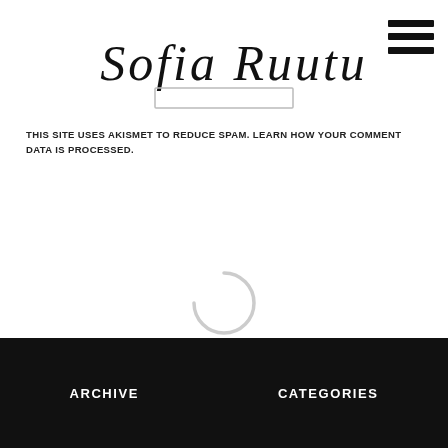Sofia Ruutu
[Figure (illustration): Hamburger menu icon with three horizontal black lines, positioned top right]
[Figure (other): Search input box outline, centered below the logo]
THIS SITE USES AKISMET TO REDUCE SPAM. LEARN HOW YOUR COMMENT DATA IS PROCESSED.
[Figure (other): Loading spinner circle arc, light gray, centered on page]
ARCHIVE   CATEGORIES